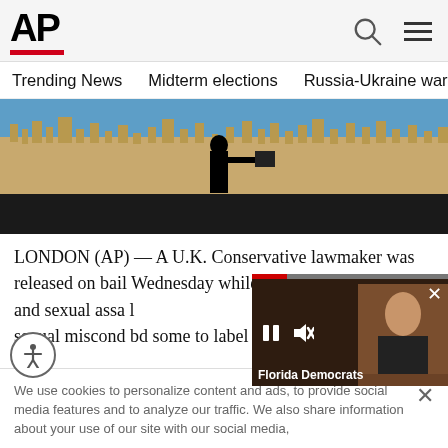[Figure (logo): AP logo with red underline bar]
Trending News   Midterm elections   Russia-Ukraine war   Dona
[Figure (photo): Silhouette of a person against the Houses of Parliament (Westminster) in London under a blue sky]
LONDON (AP) — A U.K. Conservative lawmaker was released on bail Wednesday while p... allegations of rape and sexual assa... l... n a series of sexual miscond... b...d some to label Britain's Pa... Florida Democrats
We use cookies to personalize content and ads, to provide social media features and to analyze our traffic. We also share information about your use of our site with our social media,